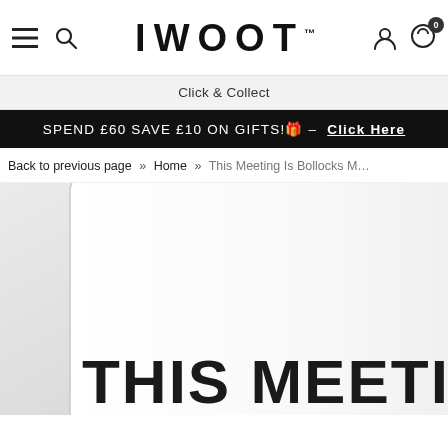IWOOT™ — navigation header with hamburger menu, search icon, logo, user icon, and cart (0)
Click & Collect
SPEND £60 SAVE £10 ON GIFTS!🎁 – Click Here
Back to previous page » Home » This Meeting Is Bollocks M…
[Figure (photo): Product photo of a large white mug with bold black text reading 'THIS MEETING' visible on the front, shown cropped at the bottom of the page against a light grey background.]